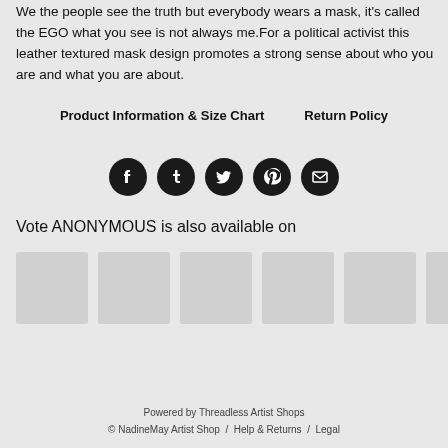We the people see the truth but everybody wears a mask, it's called the EGO what you see is not always me.For a political activist this leather textured mask design promotes a strong sense about who you are and what you are about.
Product Information & Size Chart    Return Policy
[Figure (infographic): Row of 5 social media share icons (Facebook, Tumblr, Twitter, Pinterest, Email) as white icons on dark circular backgrounds]
Vote ANONYMOUS is also available on
[Figure (other): Row of 6 product thumbnail placeholder images (gray rectangles)]
Powered by Threadless Artist Shops
© NadineMay Artist Shop  /  Help & Returns  /  Legal